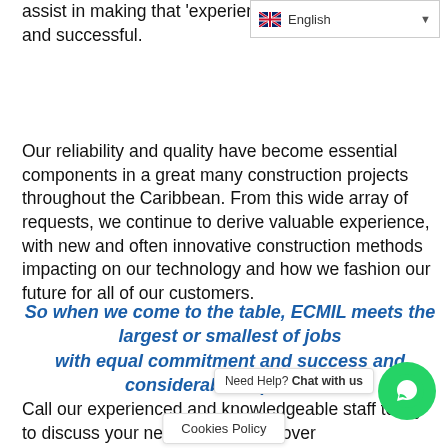assist in making that 'experience' organised, efficient and successful.
Our reliability and quality have become essential components in a great many construction projects throughout the Caribbean. From this wide array of requests, we continue to derive valuable experience, with new and often innovative construction methods impacting on our technology and how we fashion our future for all of our customers.
So when we come to the table, ECMIL meets the largest or smallest of jobs with equal commitment and success and considerable experience
Call our experienced and knowledgeable staff today to discuss your next building … discover